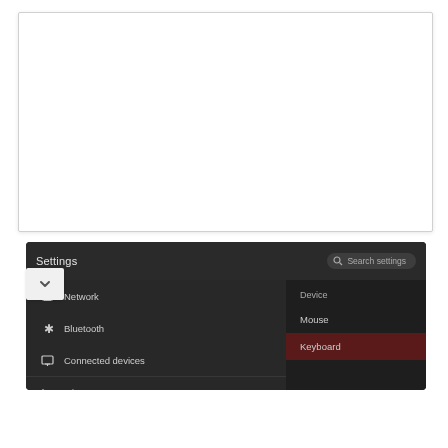[Figure (screenshot): White blank area representing a document or UI content area above the settings screen]
[Figure (screenshot): Chrome OS Settings screen showing dark UI with Settings header, search box, left navigation items (Network, Bluetooth, Connected devices, Accounts) and right panel showing Device section with Mouse and Keyboard options, Keyboard highlighted in dark red]